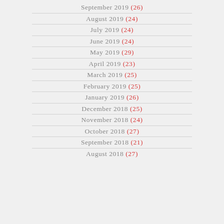September 2019 (26)
August 2019 (24)
July 2019 (24)
June 2019 (24)
May 2019 (29)
April 2019 (23)
March 2019 (25)
February 2019 (25)
January 2019 (26)
December 2018 (25)
November 2018 (24)
October 2018 (27)
September 2018 (21)
August 2018 (27)